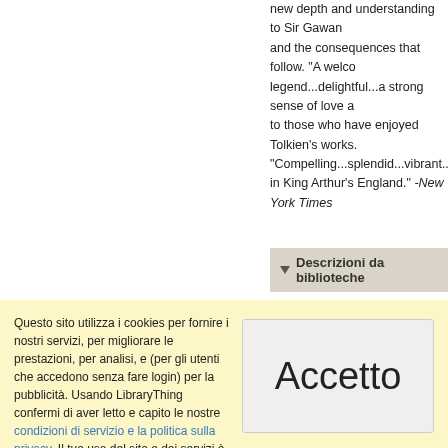new depth and understanding to Sir Gawain and the consequences that follow. "A welcome legend...delightful...a strong sense of love a to those who have enjoyed Tolkien's works. "Compelling...splendid...vibrant...exhilaratin in King Arthur's England." -New York Times
Descrizioni da biblioteche
Non sono state trovate descrizioni di bibliot
Descrizione degli utenti di LibraryThing
Questo sito utilizza i cookies per fornire i nostri servizi, per migliorare le prestazioni, per analisi, e (per gli utenti che accedono senza fare login) per la pubblicità. Usando LibraryThing confermi di aver letto e capito le nostre condizioni di servizio e la politica sulla privacy. Il tuo uso del sito e dei servizi è soggetto a tali politiche e condizioni.